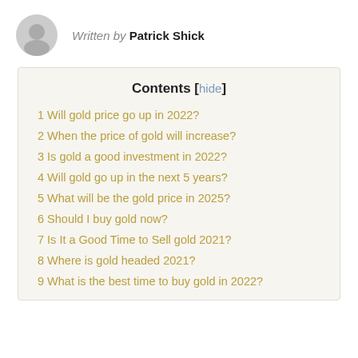Written by Patrick Shick
Contents [hide]
1 Will gold price go up in 2022?
2 When the price of gold will increase?
3 Is gold a good investment in 2022?
4 Will gold go up in the next 5 years?
5 What will be the gold price in 2025?
6 Should I buy gold now?
7 Is It a Good Time to Sell gold 2021?
8 Where is gold headed 2021?
9 What is the best time to buy gold in 2022?